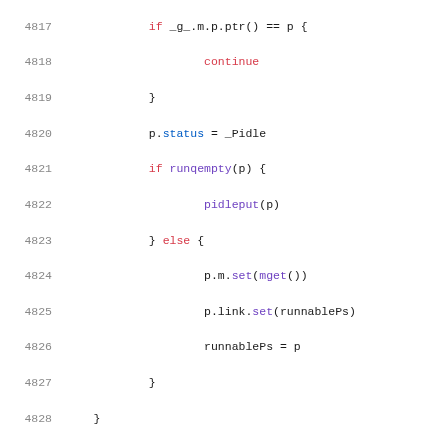[Figure (screenshot): Source code listing lines 4817-4839 in Go programming language showing scheduler logic with syntax highlighting. Keywords in red, function calls in purple, comments in gray.]